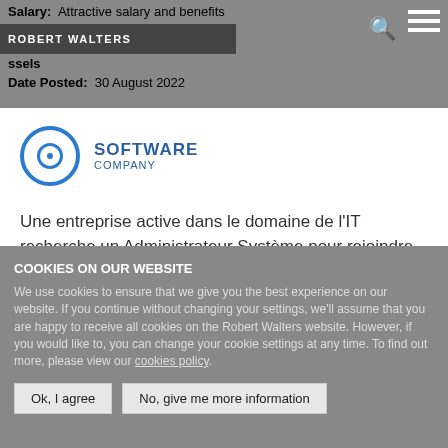Salary: Attractive salary and benefits
ROBERT WALTERS
ssels
Date Posted: 30 August 2022
English | Nederlands | Français
[Figure (logo): Software Company circular logo with target-style icon in blue, with text SOFTWARE COMPANY]
Une entreprise active dans le domaine de l'IT recherche un Administrateur Système pour rejoindre leurs équipes à Bruxelles.
COOKIES ON OUR WEBSITE
We use cookies to ensure that we give you the best experience on our website. If you continue without changing your settings, we'll assume that you are happy to receive all cookies on the Robert Walters website. However, if you would like to, you can change your cookie settings at any time. To find out more, please view our cookies policy.
Ok, I agree
No, give me more information